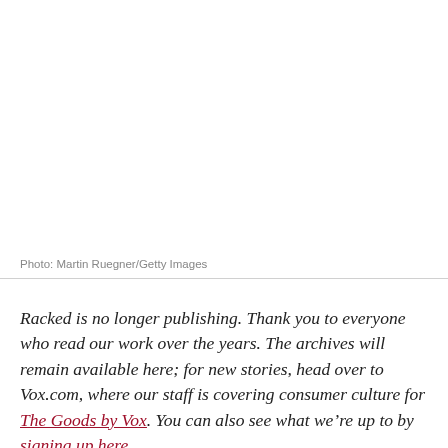[Figure (photo): White/blank photo area at top of page]
Photo: Martin Ruegner/Getty Images
Racked is no longer publishing. Thank you to everyone who read our work over the years. The archives will remain available here; for new stories, head over to Vox.com, where our staff is covering consumer culture for The Goods by Vox. You can also see what we’re up to by signing up here